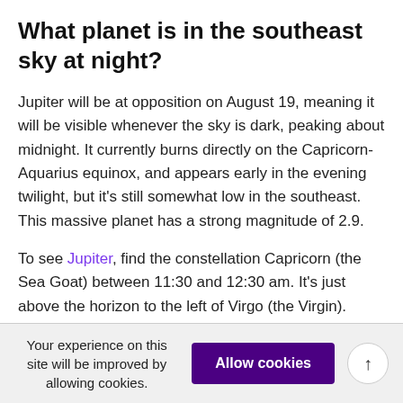What planet is in the southeast sky at night?
Jupiter will be at opposition on August 19, meaning it will be visible whenever the sky is dark, peaking about midnight. It currently burns directly on the Capricorn-Aquarius equinox, and appears early in the evening twilight, but it's still somewhat low in the southeast. This massive planet has a strong magnitude of 2.9.
To see Jupiter, find the constellation Capricorn (the Sea Goat) between 11:30 and 12:30 am. It's just above the horizon to the left of Virgo (the Virgin).
Your experience on this site will be improved by allowing cookies. Allow cookies